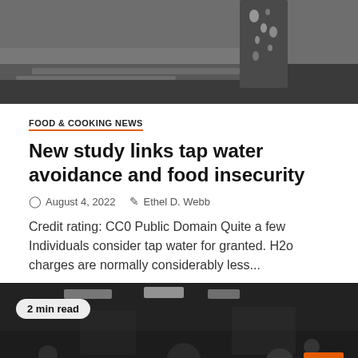[Figure (photo): Black and white photo of water droplets or bubbling water, close-up shot]
FOOD & COOKING NEWS
New study links tap water avoidance and food insecurity
August 4, 2022   Ethel D. Webb
Credit rating: CC0 Public Domain Quite a few Individuals consider tap water for granted. H2o charges are normally considerably less...
[Figure (photo): Black and white photo of a man on a bus or train at night, with a 2 min read badge and scroll-to-top orange button]